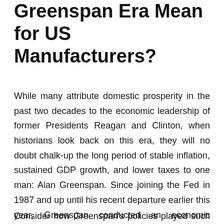Greenspan Era Mean for US Manufacturers?
While many attribute domestic prosperity in the past two decades to the economic leadership of former Presidents Reagan and Clinton, when historians look back on this era, they will no doubt chalk-up the long period of stable inflation, sustained GDP growth, and lower taxes to one man: Alan Greenspan. Since joining the Fed in 1987 and up until his recent departure earlier this year, Greenspan conducted an economic symphony that continually brought our economy in for a smooth landing, despite near continuous global and regional turbulence throughout the period.
Consider how Greenspan's policies played such a